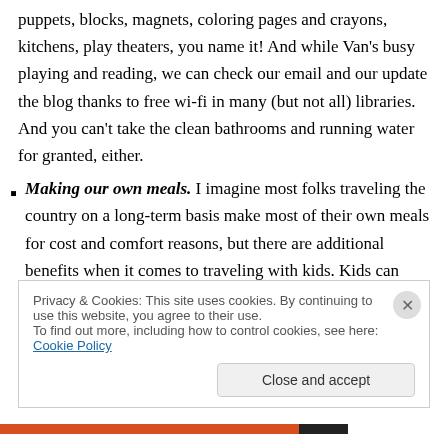puppets, blocks, magnets, coloring pages and crayons, kitchens, play theaters, you name it!  And while Van's busy playing and reading, we can check our email and our update the blog thanks to free wi-fi in many (but not all) libraries.  And you can't take the clean bathrooms and running water for granted, either.
Making our own meals.  I imagine most folks traveling the country on a long-term basis make most of their own meals for cost and comfort reasons, but there are additional benefits when it comes to traveling with kids.  Kids can only sit still for so long and so often.  By
Privacy & Cookies: This site uses cookies. By continuing to use this website, you agree to their use.
To find out more, including how to control cookies, see here: Cookie Policy
Close and accept